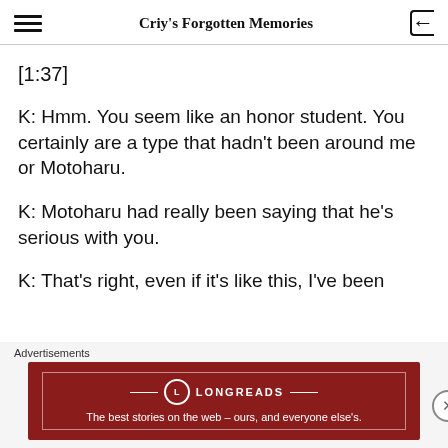Criy's Forgotten Memories
[1:37]
K: Hmm. You seem like an honor student. You certainly are a type that hadn't been around me or Motoharu.
K: Motoharu had really been saying that he's serious with you.
K: That's right, even if it's like this, I've been
Advertisements
[Figure (other): Longreads advertisement banner: red background with Longreads logo and tagline 'The best stories on the web — ours, and everyone else's.']